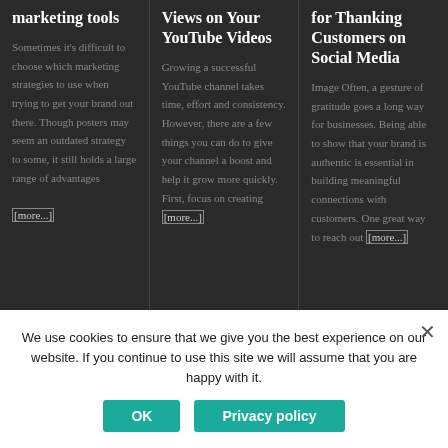marketing tools
Sometimes it's difficult to choose which marketing strategies to use when trying to get your brand out there. Though posters may seem an outdated strategy to some, it still holds a large range of advantages
[more...]
Views on Your YouTube Videos
Growing a successful YouTube channel takes time, effort and consistency. However, there are a few things you can do to give your channel a boost and help it grow more quickly. First, focus on creating [more...]
for Thanking Customers on Social Media
Image Often, a gesture of gratitude goes a long way for businesses. Being able to show that your brand is authentic is essential in building meaningful connections with customers. One great way to reach out [more...]
We use cookies to ensure that we give you the best experience on our website. If you continue to use this site we will assume that you are happy with it.